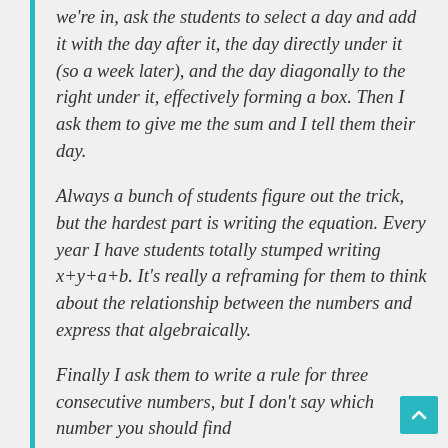we're in, ask the students to select a day and add it with the day after it, the day directly under it (so a week later), and the day diagonally to the right under it, effectively forming a box. Then I ask them to give me the sum and I tell them their day.
Always a bunch of students figure out the trick, but the hardest part is writing the equation. Every year I have students totally stumped writing x+y+a+b. It's really a reframing for them to think about the relationship between the numbers and express that algebraically.
Finally I ask them to write a rule for three consecutive numbers, but I don't say which number you should find